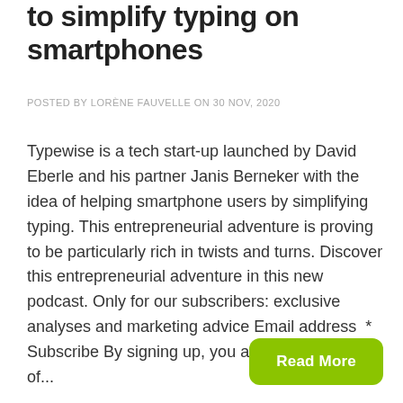to simplify typing on smartphones
POSTED BY LORÈNE FAUVELLE ON 30 NOV, 2020
Typewise is a tech start-up launched by David Eberle and his partner Janis Berneker with the idea of helping smartphone users by simplifying typing. This entrepreneurial adventure is proving to be particularly rich in twists and turns. Discover this entrepreneurial adventure in this new podcast. Only for our subscribers: exclusive analyses and marketing advice Email address  * Subscribe By signing up, you agree to our Terms of...
Read More